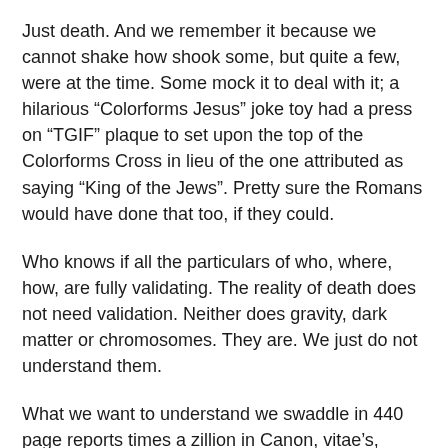Just death. And we remember it because we cannot shake how shook some, but quite a few, were at the time. Some mock it to deal with it; a hilarious “Colorforms Jesus” joke toy had a press on “TGIF” plaque to set upon the top of the Colorforms Cross in lieu of the one attributed as saying “King of the Jews”. Pretty sure the Romans would have done that too, if they could.
Who knows if all the particulars of who, where, how, are fully validating. The reality of death does not need validation. Neither does gravity, dark matter or chromosomes. They are. We just do not understand them.
What we want to understand we swaddle in 440 page reports times a zillion in Canon, vitae’s, endless validations and justifications.